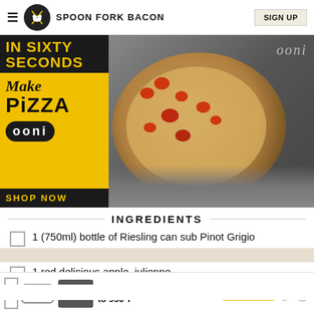SPOON FORK BACON
[Figure (photo): Ooni pizza oven advertisement showing 'Make Pizza in Sixty Seconds' with an Ooni branded pizza oven and a cooked pizza on a metal peel. Yellow and black branded layout with 'SHOP NOW' call to action.]
INGREDIENTS
1 (750ml) bottle of Riesling can sub Pinot Grigio
1 red delicious apple, julienne
[Figure (photo): Ooni pizza oven advertisement banner at bottom: 'Heats up to 950°F' with SHOP NOW button and X close button.]